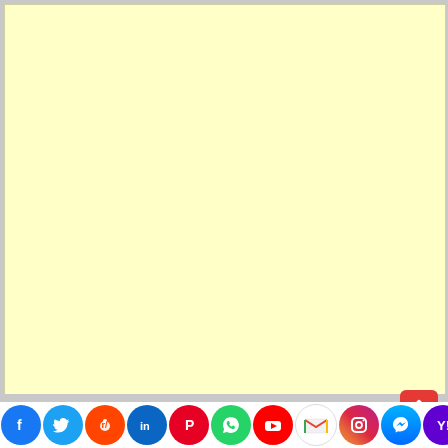[Figure (other): A mostly blank pale yellow page area, possibly an advertisement or content placeholder with a light cream/yellow background.]
[Figure (infographic): Social media sharing icons bar at the bottom: Facebook (blue), Twitter (light blue), Reddit (orange-red), LinkedIn (dark blue), Pinterest (red), WhatsApp (green), YouTube (red), Gmail (multicolor envelope), Instagram (gradient), Messenger (blue gradient), Yahoo (purple). A red share/upload button with an upward arrow is shown above the bar on the right side.]